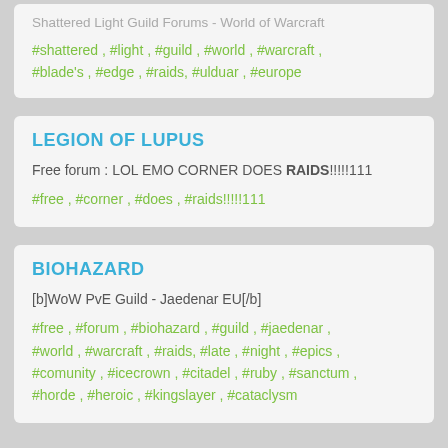Shattered Light Guild Forums - World of Warcraft
#shattered , #light , #guild , #world , #warcraft , #blade's , #edge , #raids, #ulduar , #europe
LEGION OF LUPUS
Free forum : LOL EMO CORNER DOES RAIDS!!!!!111
#free , #corner , #does , #raids!!!!!111
BIOHAZARD
[b]WoW PvE Guild - Jaedenar EU[/b]
#free , #forum , #biohazard , #guild , #jaedenar , #world , #warcraft , #raids, #late , #night , #epics , #comunity , #icecrown , #citadel , #ruby , #sanctum , #horde , #heroic , #kingslayer , #cataclysm